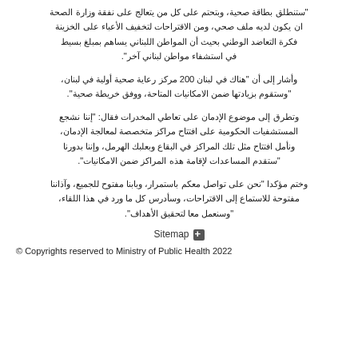"ستنطلق بطاقة صحية، وبتحتم على كل من يتعالج على نفقة وزارة الصحة ان يكون لديه ملف صحي، ومن الاقتراحات لتخفيف الأعباء على الخزينة فكرة التعاضد الوطني بحيث أن المواطن اللبناني يساهم بمبلغ بسيط في استشفاء مواطن لبناني آخر".
وأشار إلى أن "هناك في لبنان 200 مركز رعاية صحية أولية في لبنان، "وستقوم بزيادتها ضمن الامكانيات المتاحة، ووفق خريطة صحية".
وتطرق إلى موضوع الإدمان على تعاطي المخدرات فقال: "إننا نشجع المستشفيات الحكومية على افتتاح مراكز متخصصة لمعالجة الإدمان، ونأمل افتتاح مثل تلك المراكز في البقاع وبعلبك الهرمل، وإننا بدورنا "ستقدم المساعدات لإقامة هذه المراكز ضمن الامكانيات".
وختم مؤكدا "نحن على تواصل معكم باستمرار، وبابنا مفتوح للجميع، وآذاننا مفتوحة للاستماع إلى الاقتراحات، وسأدرس كل ما ورد في هذا اللقاء، "وسنعمل معا لتحقيق الأهداف".
Sitemap
© Copyrights reserved to Ministry of Public Health 2022